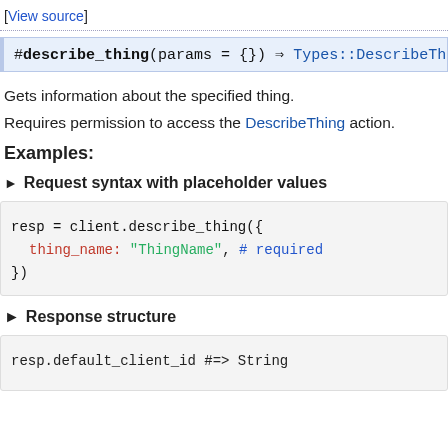[View source]
#describe_thing(params = {}) ⇒ Types::DescribeThing
Gets information about the specified thing.
Requires permission to access the DescribeThing action.
Examples:
► Request syntax with placeholder values
resp = client.describe_thing({
  thing_name: "ThingName", # required
})
► Response structure
resp.default_client_id #=> String